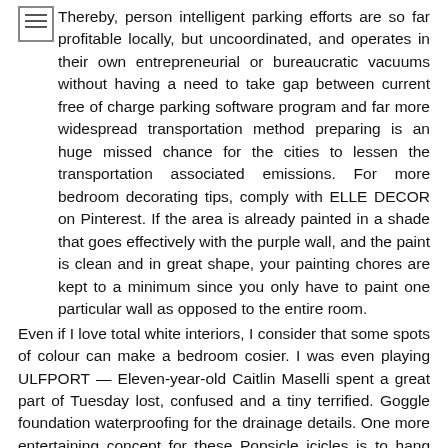Thereby, person intelligent parking efforts are so far profitable locally, but uncoordinated, and operates in their own entrepreneurial or bureaucratic vacuums without having a need to take gap between current free of charge parking software program and far more widespread transportation method preparing is an huge missed chance for the cities to lessen the transportation associated emissions. For more bedroom decorating tips, comply with ELLE DECOR on Pinterest. If the area is already painted in a shade that goes effectively with the purple wall, and the paint is clean and in great shape, your painting chores are kept to a minimum since you only have to paint one particular wall as opposed to the entire room.
Even if I love total white interiors, I consider that some spots of colour can make a bedroom cosier. I was even playing ULFPORT — Eleven-year-old Caitlin Maselli spent a great part of Tuesday lost, confused and a tiny terrified. Goggle foundation waterproofing for the drainage details. One more entertaining concept for these Popsicle icicles is to hang them from fishing wire from the ceiling, all at varying lengths so that it appears like snow is falling! This quite cute Valentine gift notion is discovered on the Produced web site.
Mark's property was not too long ago remodeled, such as his...